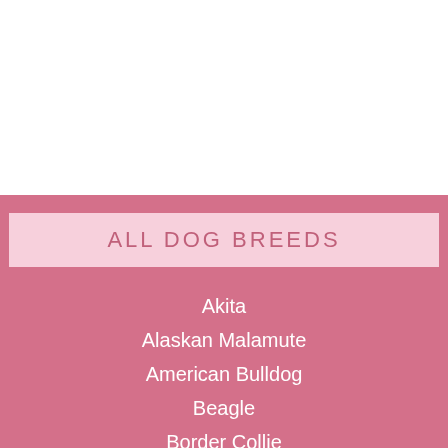ALL DOG BREEDS
Akita
Alaskan Malamute
American Bulldog
Beagle
Border Collie
Border Terrier